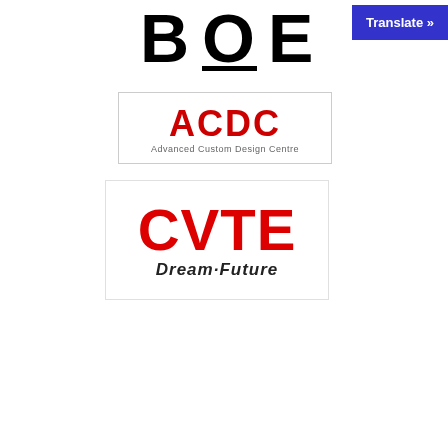[Figure (logo): BOE logo - large bold black letters B, O, E with a horizontal black bar beneath the O]
[Figure (logo): Translate button - blue rectangle with white bold text 'Translate »']
[Figure (logo): ACDC Advanced Custom Design Centre logo - red bold stylized letters ACDC with subtitle text in gray]
[Figure (logo): CVTE Dream·Future logo - large red bold letters CVTE with italic tagline 'Dream·Future' below in dark gray]